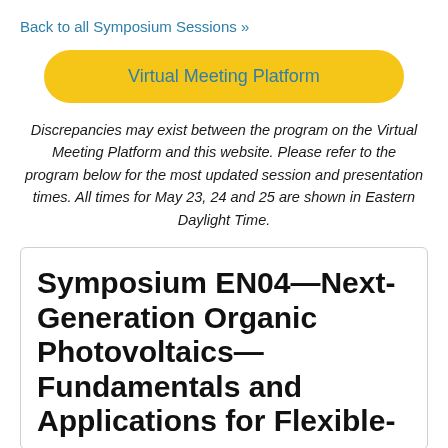Back to all Symposium Sessions »
Virtual Meeting Platform
Discrepancies may exist between the program on the Virtual Meeting Platform and this website. Please refer to the program below for the most updated session and presentation times. All times for May 23, 24 and 25 are shown in Eastern Daylight Time.
Symposium EN04—Next-Generation Organic Photovoltaics—Fundamentals and Applications for Flexible-